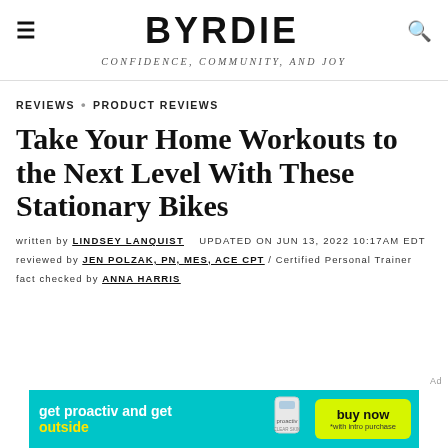BYRDIE — CONFIDENCE, COMMUNITY, AND JOY
REVIEWS · PRODUCT REVIEWS
Take Your Home Workouts to the Next Level With These Stationary Bikes
written by LINDSEY LANQUIST   UPDATED ON JUN 13, 2022 10:17AM EDT
reviewed by JEN POLZAK, PN, MES, ACE CPT / Certified Personal Trainer
fact checked by ANNA HARRIS
[Figure (screenshot): Proactiv advertisement banner: 'get proactiv and get outside' with a product image and a yellow 'buy now' button with '*with intro purchase' text, on a teal/cyan background.]